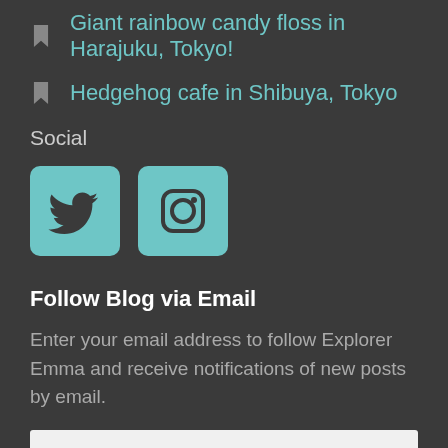Giant rainbow candy floss in Harajuku, Tokyo!
Hedgehog cafe in Shibuya, Tokyo
Social
[Figure (illustration): Two social media icons: Twitter bird icon and Instagram camera icon, both in teal/dark color on teal rounded square backgrounds]
Follow Blog via Email
Enter your email address to follow Explorer Emma and receive notifications of new posts by email.
Email Address
Follow